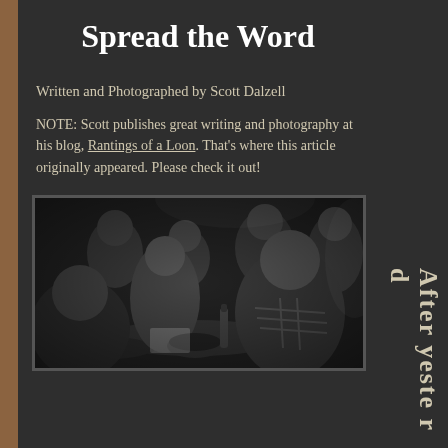Spread the Word
Written and Photographed by Scott Dalzell
NOTE: Scott publishes great writing and photography at his blog, Rantings of a Loon. That’s where this article originally appeared. Please check it out!
[Figure (photo): Black and white photograph of a crowded restaurant or event space with people seated at tables, eating and socializing. A man in a plaid shirt is visible in the foreground right.]
After yeste rd